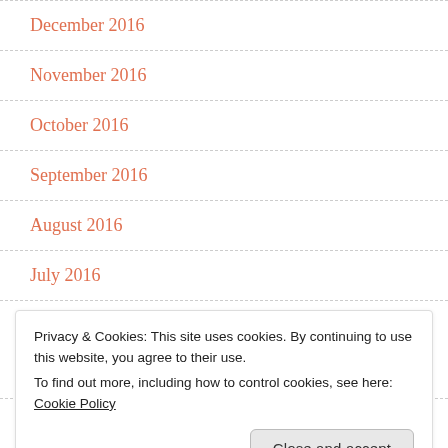December 2016
November 2016
October 2016
September 2016
August 2016
July 2016
Privacy & Cookies: This site uses cookies. By continuing to use this website, you agree to their use.
To find out more, including how to control cookies, see here: Cookie Policy
February 2016